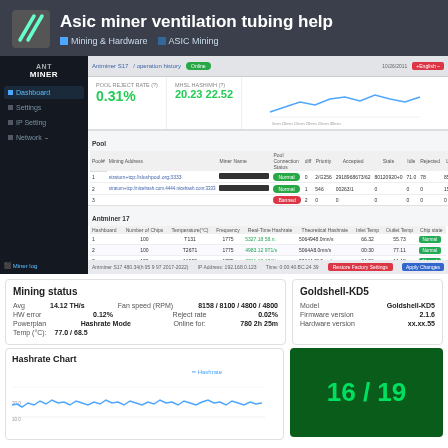Asic miner ventilation tubing help
Mining & Hardware   ASIC Mining
[Figure (screenshot): Antminer ASIC miner web UI dashboard showing pool status, hashboard data, fan speeds and mining statistics. Displays 0.31% reject rate, hashrate 20.23 22.52, pool status with Normal/Error badges, and hashboard table with frequencies around 1175 and temperatures.]
Mining status
|  |  |
| --- | --- |
| Avg | 14.12 TH/s |
| Fan speed (RPM) | 8158 / 8100 / 4800 / 4800 |
| HW error | 0.12% |
| Reject rate | 0.02% |
| Powerplan | Hashrate Mode |
| Online for: | 780 2h 25m |
| Temp (°C): | 77.0 / 68.5 |
Goldshell-KD5
|  |  |
| --- | --- |
| Model | Goldshell-KD5 |
| Firmware version | 2.1.6 |
| Hardware version | xx.xx.55 |
Hashrate Chart
[Figure (line-chart): Hashrate chart showing hashrate over time with fluctuating line around 10-20 TH/s range. Legend shows 'Hashrate' label.]
16 / 19